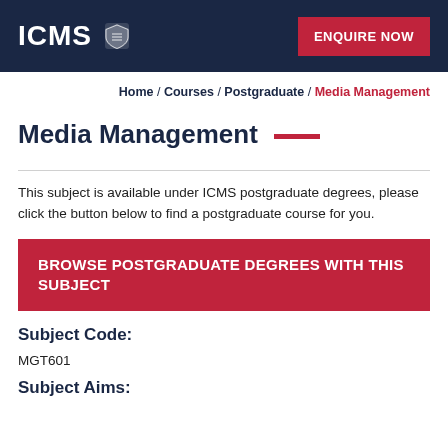ICMS  ENQUIRE NOW
Home / Courses / Postgraduate / Media Management
Media Management
This subject is available under ICMS postgraduate degrees, please click the button below to find a postgraduate course for you.
BROWSE POSTGRADUATE DEGREES WITH THIS SUBJECT
Subject Code:
MGT601
Subject Aims: